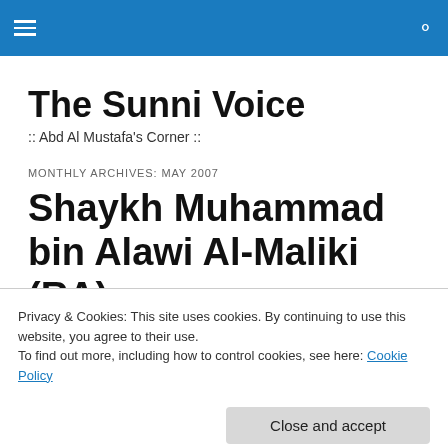The Sunni Voice — navigation header bar
The Sunni Voice
:: Abd Al Mustafa's Corner ::
MONTHLY ARCHIVES: MAY 2007
Shaykh Muhammad bin Alawi Al-Maliki (RA)
Privacy & Cookies: This site uses cookies. By continuing to use this website, you agree to their use.
To find out more, including how to control cookies, see here: Cookie Policy
Close and accept
highly praised by the 'ulama (learned